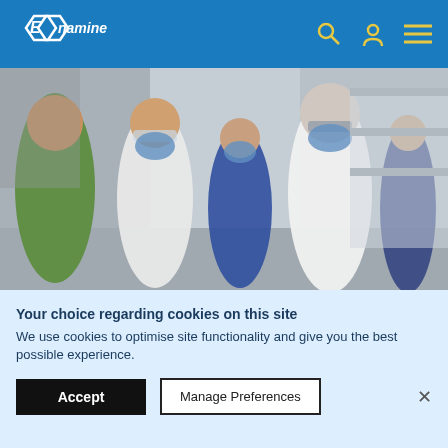Enamine
[Figure (photo): Scientists in a laboratory wearing face masks and lab coats, having a discussion]
DEL-compatible Building Blocks
Your choice regarding cookies on this site
We use cookies to optimise site functionality and give you the best possible experience.
Accept | Manage Preferences